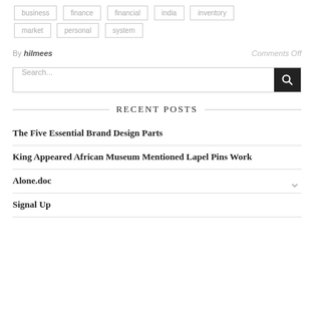business
finance
financial
india
inventory
market
personal
system
By hilmees    Comments Off
Search...
RECENT POSTS
The Five Essential Brand Design Parts
King Appeared African Museum Mentioned Lapel Pins Work
Alone.doc
Signal Up